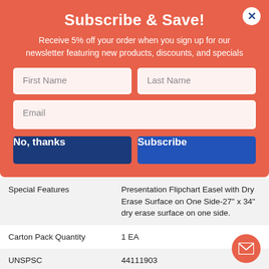Subscribe & Save!
Receive 5% off your order when you sign up for our newsletter featuring new products, discounts, and specials
[Figure (screenshot): Email subscription form with First Name, Last Name, Email fields and No thanks / Subscribe buttons]
| Feature | Value |
| --- | --- |
| Special Features | Presentation Flipchart Easel with Dry Erase Surface on One Side-27" x 34" dry erase surface on one side. |
| Carton Pack Quantity | 1 EA |
| UNSPSC | 44111903 |
| UPC | 674785302378 |
| MPN | 30237 |
| UNSPSC | 44111903 |